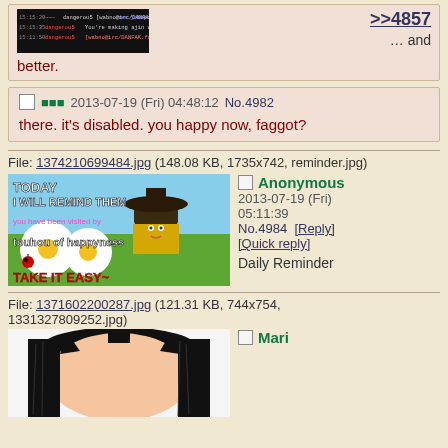[Figure (screenshot): IRC chat screenshot showing channel messages]
>>4857 … and better.
■■■ 2013-07-19 (Fri) 04:48:12 No.4982
there. it's disabled. you happy now, faggot?
File: 1374210699484.jpg (148.08 KB, 1735x742, reminder.jpg)
[Figure (photo): Touhou of happyness meme image with 'TODAY I WILL REMIND THEM' and 'TAKE IT EASY~']
Anonymous 2013-07-19 (Fri) 05:11:39 No.4984 [Reply] [Quick reply]
Daily Reminder
File: 1371602200287.jpg (121.31 KB, 744x754, 1331327809252.jpg)
[Figure (illustration): Anime manga girl with black hair]
Mari